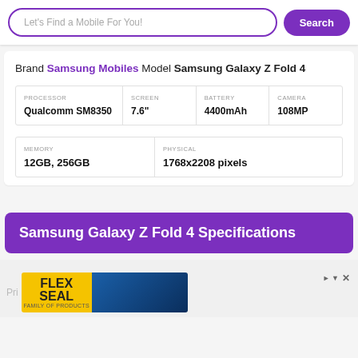Let's Find a Mobile For You! Search
Brand Samsung Mobiles Model Samsung Galaxy Z Fold 4
| PROCESSOR | SCREEN | BATTERY | CAMERA |
| --- | --- | --- | --- |
| Qualcomm SM8350 | 7.6" | 4400mAh | 108MP |
| MEMORY | PHYSICAL |
| --- | --- |
| 12GB, 256GB | 1768x2208 pixels |
Samsung Galaxy Z Fold 4 Specifications
[Figure (photo): Advertisement banner with Flex Seal logo and blue background image]